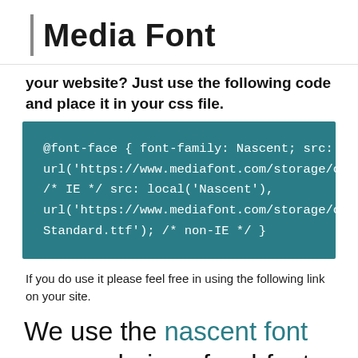Media Font
your website? Just use the following code and place it in your css file.
@font-face { font-family: Nascent; src: url('https://www.mediafont.com/storage/contents/11404/fo /* IE */ src: local('Nascent'), url('https://www.mediafont.com/storage/contents/11404/N Standard.ttf'); /* non-IE */ }
If you do use it please feel free in using the following link on your site.
We use the nascent font as our choice of webfont.
Nascent Standard.ttf